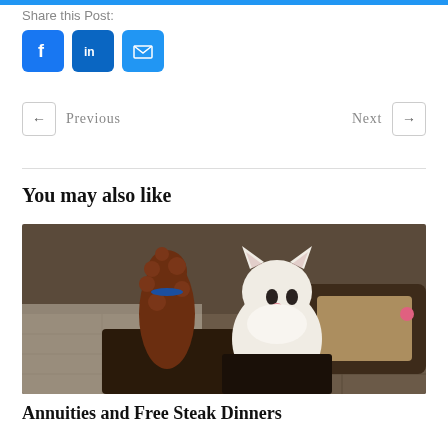Share this Post:
[Figure (infographic): Social sharing icons: Facebook (blue square with f), LinkedIn (blue square with in), Email (blue square with envelope)]
← Previous    Next →
You may also like
[Figure (photo): A white fluffy cat sitting upright on a dark platform next to a brown curly-haired dog, with a dark pet bed in the background on a tiled floor]
Annuities and Free Steak Dinners